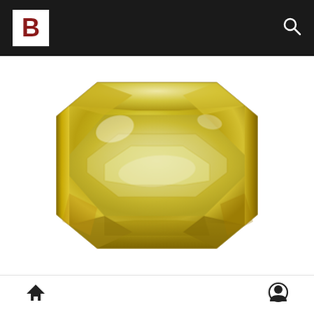B [logo] [search icon]
[Figure (photo): A faceted yellow-green gemstone (likely citrine or yellow sapphire) with an emerald/octagonal cut, showing bright golden-yellow color with faceted reflections on a white background.]
[home icon] [user/account icon]